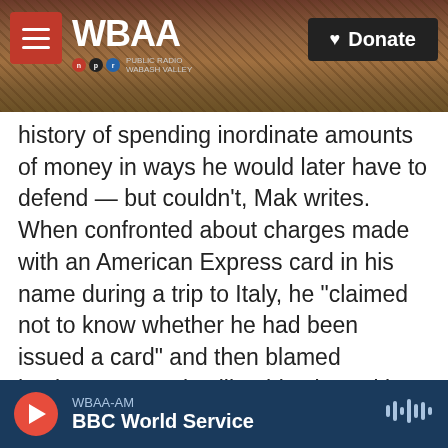[Figure (screenshot): WBAA NPR radio website header with tree/bark background photo, red hamburger menu icon, WBAA logo in white, and black Donate button with heart icon]
history of spending inordinate amounts of money in ways he would later have to defend — but couldn't, Mak writes. When confronted about charges made with an American Express card in his name during a trip to Italy, he "claimed not to know whether he had been issued a card" and then blamed hackers. Examples like this abound in the book. Mak writes that, now, the NRA is trying to survive the consequences of every abuse of power, every criminal they hired, and every secret they tried to keep. In August of 2020, New York Attorney General Letitia James filed a lawsuit against the NRA, "seeking to dissolve the organization entirely"
WBAA-AM  BBC World Service